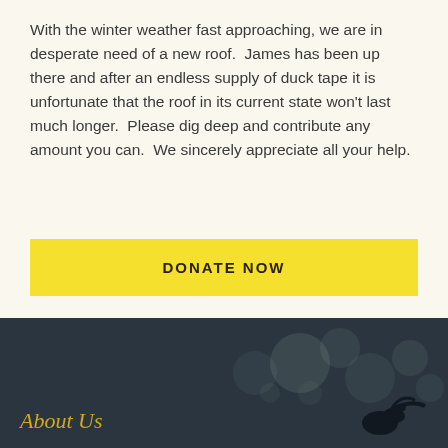With the winter weather fast approaching, we are in desperate need of a new roof.  James has been up there and after an endless supply of duck tape it is unfortunate that the roof in its current state won't last much longer.  Please dig deep and contribute any amount you can.  We sincerely appreciate all your help.
DONATE NOW
About Us